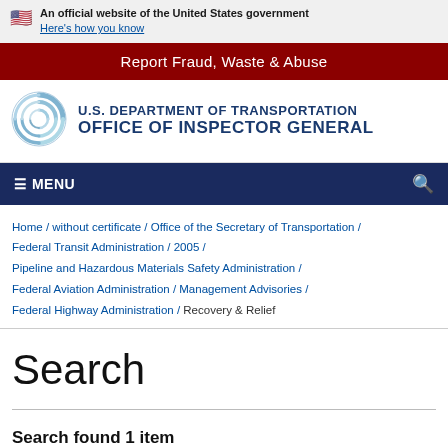An official website of the United States government Here's how you know
Report Fraud, Waste & Abuse
[Figure (logo): U.S. Department of Transportation Office of Inspector General logo with circular swirl emblem]
≡ MENU
Home / without certificate / Office of the Secretary of Transportation / Federal Transit Administration / 2005 / Pipeline and Hazardous Materials Safety Administration / Federal Aviation Administration / Management Advisories / Federal Highway Administration / Recovery & Relief
Search
Search found 1 item